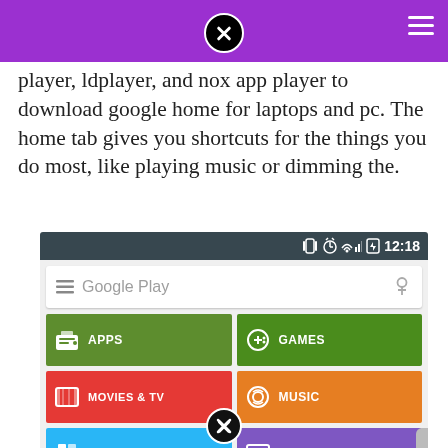player, ldplayer, and nox app player to download google home for laptops and pc. The home tab gives you shortcuts for the things you do most, like playing music or dimming the.
[Figure (screenshot): Screenshot of Google Play Store app on Android showing status bar with 12:18 time, a Google Play search bar, and category tiles: APPS (green), GAMES (green), MOVIES & TV (red), MUSIC (orange), BOOKS (blue), NEWSSTAND (purple)]